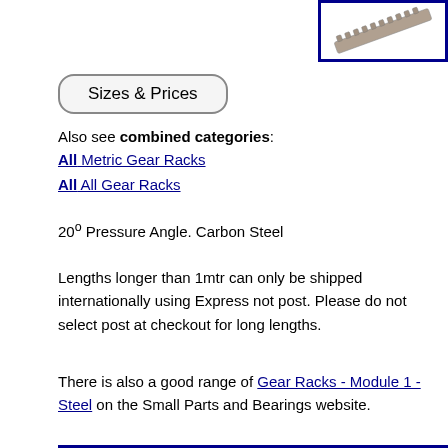[Figure (photo): Product photo of a metal gear rack (threaded rod-like component) shown diagonally, inside a blue-bordered box in the top-right corner.]
Sizes & Prices
Also see combined categories:
All Metric Gear Racks
All All Gear Racks
20° Pressure Angle. Carbon Steel
Lengths longer than 1mtr can only be shipped internationally using Express not post. Please do not select post at checkout for long lengths.
There is also a good range of Gear Racks - Module 1 - Steel on the Small Parts and Bearings website.